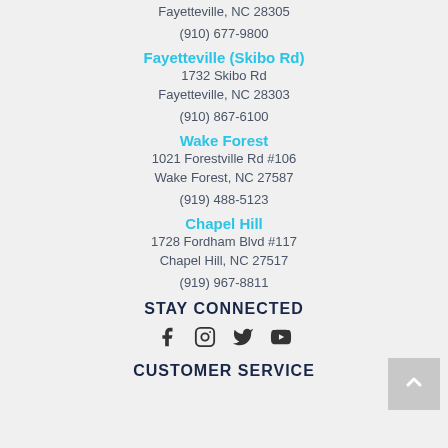Fayetteville, NC 28305
(910) 677-9800
Fayetteville (Skibo Rd)
1732 Skibo Rd
Fayetteville, NC 28303
(910) 867-6100
Wake Forest
1021 Forestville Rd #106
Wake Forest, NC 27587
(919) 488-5123
Chapel Hill
1728 Fordham Blvd #117
Chapel Hill, NC 27517
(919) 967-8811
STAY CONNECTED
[Figure (other): Social media icons: Facebook, Instagram, Twitter, YouTube]
CUSTOMER SERVICE